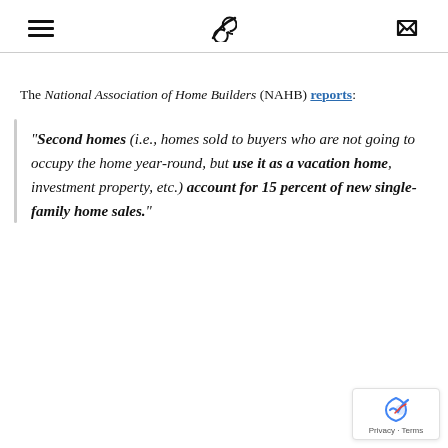[hamburger menu icon] [phone icon] [envelope icon]
The National Association of Home Builders (NAHB) reports:
“Second homes (i.e., homes sold to buyers who are not going to occupy the home year-round, but use it as a vacation home, investment property, etc.) account for 15 percent of new single-family home sales.”